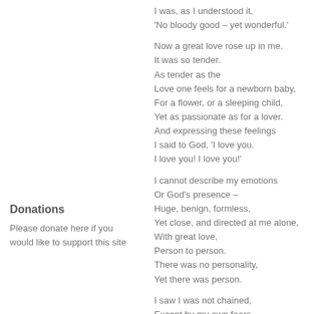I was, as I understood it,
'No bloody good – yet wonderful.'

Now a great love rose up in me.
It was so tender.
As tender as the
Love one feels for a newborn baby,
For a flower, or a sleeping child,
Yet as passionate as for a lover.
And expressing these feelings
I said to God, 'I love you.
I love you! I love you!'

I cannot describe my emotions
Or God's presence –
Huge, benign, formless,
Yet close, and directed at me alone,
With great love,
Person to person.
There was no personality,
Yet there was person.

I saw I was not chained,
Except by my own fears
And restraints,
And laughter rose in me.
Not because of a joke,
But because laughter itself
Is as elemental as love,
As powerful as the sea,
And it began to flow through me.
Donations
Please donate here if you would like to support this site